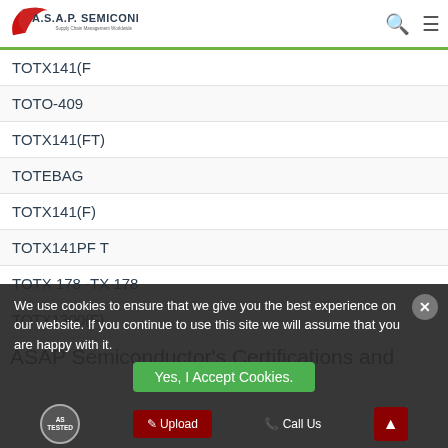A.S.A.P. SEMICONDUCTOR Supply Chain Management Worldwide
TOTX141(F
TOTO-409
TOTX141(FT)
TOTEBAG
TOTX141(F)
TOTX141PF T
TOTX 178 -TX 178
TOTX1300(F)
ASAP Semiconductor's Certifications and
We use cookies to ensure that we give you the best experience on our website. If you continue to use this site we will assume that you are happy with it.
Yes, I Accept Cookies.